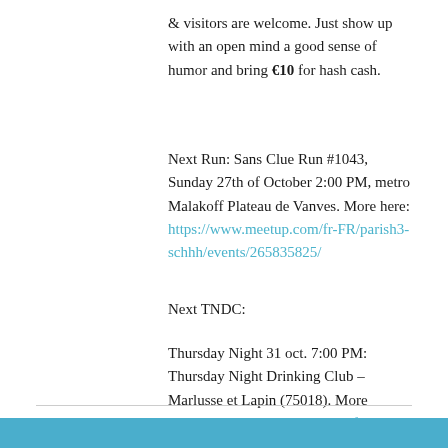& visitors are welcome. Just show up with an open mind a good sense of humor and bring €10 for hash cash.
Next Run: Sans Clue Run #1043, Sunday 27th of October 2:00 PM, metro Malakoff Plateau de Vanves. More here: https://www.meetup.com/fr-FR/parish3-schhh/events/265835825/
Next TNDC:
Thursday Night 31 oct. 7:00 PM: Thursday Night Drinking Club – Marlusse et Lapin (75018). More here:https://www.meetup.com/fr-FR/parish3-schhh/events/265533773/